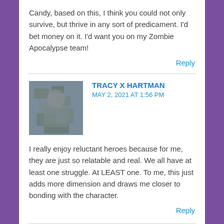Candy, based on this, I think you could not only survive, but thrive in any sort of predicament. I'd bet money on it. I'd want you on my Zombie Apocalypse team!
Reply
[Figure (photo): Avatar photo of Tracy X Hartman, showing a person in camouflage gear]
TRACY X HARTMAN
MAY 2, 2021 AT 1:56 PM
I really enjoy reluctant heroes because for me, they are just so relatable and real. We all have at least one struggle. At LEAST one. To me, this just adds more dimension and draws me closer to bonding with the character.
Reply